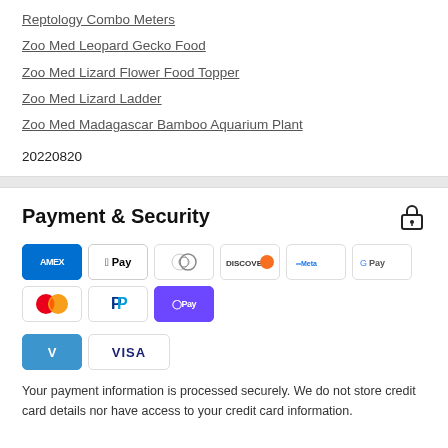Reptology Combo Meters
Zoo Med Leopard Gecko Food
Zoo Med Lizard Flower Food Topper
Zoo Med Lizard Ladder
Zoo Med Madagascar Bamboo Aquarium Plant
20220820
Payment & Security
[Figure (infographic): Payment method icons: AMEX, Apple Pay, Diners Club, Discover, Meta Pay, Google Pay, Mastercard, PayPal, OPay, Venmo, VISA]
Your payment information is processed securely. We do not store credit card details nor have access to your credit card information.